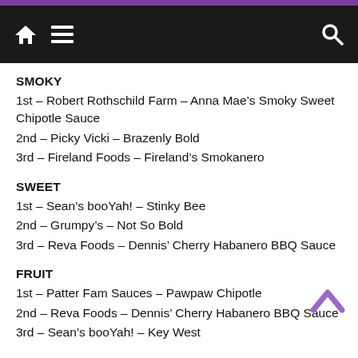Navigation bar with home, menu, and search icons
SMOKY
1st – Robert Rothschild Farm – Anna Mae's Smoky Sweet Chipotle Sauce
2nd – Picky Vicki – Brazenly Bold
3rd – Fireland Foods – Fireland's Smokanero
SWEET
1st – Sean's booYah! – Stinky Bee
2nd – Grumpy's – Not So Bold
3rd – Reva Foods – Dennis' Cherry Habanero BBQ Sauce
FRUIT
1st – Patter Fam Sauces – Pawpaw Chipotle
2nd – Reva Foods – Dennis' Cherry Habanero BBQ Sauce
3rd – Sean's booYah! – Key West
ETHNIC